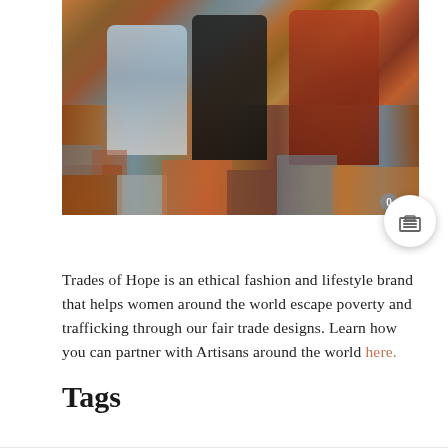[Figure (photo): Three women standing barefoot on piles of colorful textile fabrics in what appears to be a market. Left woman wears light blue jeans, center woman wears a black skirt, right woman wears a rust/orange long dress. Fabrics in shades of orange, red, blue, and grey surround them.]
Trades of Hope is an ethical fashion and lifestyle brand that helps women around the world escape poverty and trafficking through our fair trade designs. Learn how you can partner with Artisans around the world here.
Tags